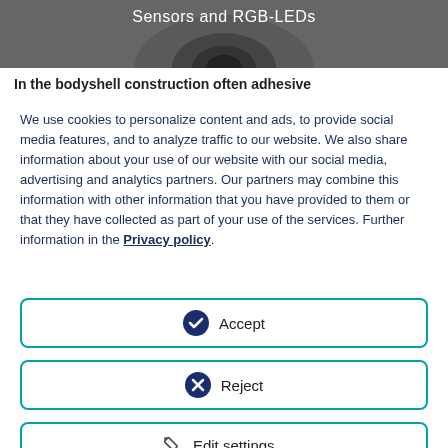[Figure (photo): Grayscale image showing sensors and RGB-LEDs, with text overlay 'Sensors and RGB-LEDs']
In the bodyshell construction often adhesive
We use cookies to personalize content and ads, to provide social media features, and to analyze traffic to our website. We also share information about your use of our website with our social media, advertising and analytics partners. Our partners may combine this information with other information that you have provided to them or that they have collected as part of your use of the services. Further information in the Privacy policy.
Accept
Reject
Edit settings...